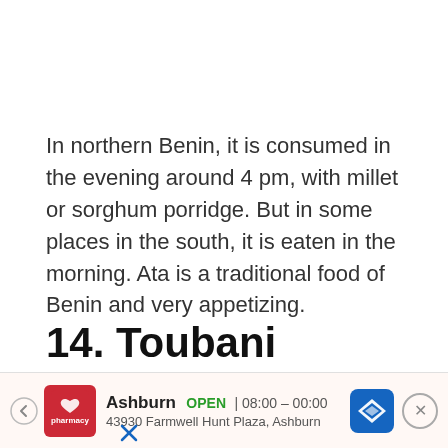In northern Benin, it is consumed in the evening around 4 pm, with millet or sorghum porridge. But in some places in the south, it is eaten in the morning. Ata is a traditional food of Benin and very appetizing.
14. Toubani
[Figure (photo): Photo of a white bowl filled with brown spice/powder on an orange background, partially cropped at bottom of page.]
Ashburn  OPEN | 08:00 – 00:00  43930 Farmwell Hunt Plaza, Ashburn